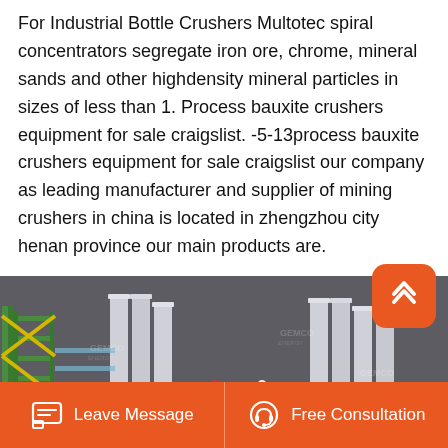For Industrial Bottle Crushers Multotec spiral concentrators segregate iron ore, chrome, mineral sands and other highdensity mineral particles in sizes of less than 1. Process bauxite crushers equipment for sale craigslist. -5-13process bauxite crushers equipment for sale craigslist our company as leading manufacturer and supplier of mining crushers in china is located in zhengzhou city henan province our main products are.
[Figure (photo): Industrial facility 3D render showing industrial equipment including silos, conveyor systems, structural frames, and processing machinery. GEMCO ENERGY watermark visible. Workers visible in scene.]